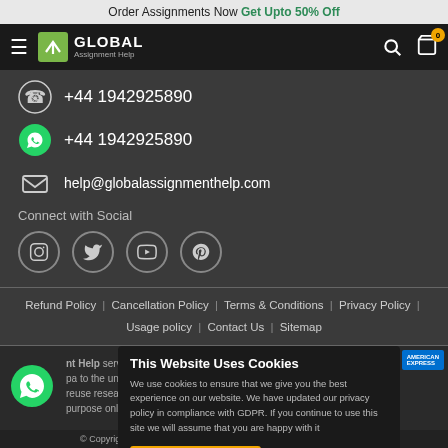Order Assignments Now Get Upto 50% Off
[Figure (logo): Global Assignment Help navigation bar with hamburger menu, logo, search and cart icons]
+44 1942925890
+44 1942925890
help@globalassignmenthelp.com
Connect with Social
[Figure (infographic): Social media icons: Instagram, Twitter, YouTube, Pinterest]
Refund Policy | Cancellation Policy | Terms & Conditions | Privacy Policy | Usage policy | Contact Us | Sitemap
This Website Uses Cookies
We use cookies to ensure that we give you the best experience on our website. We have updated our privacy policy in compliance with GDPR. If you continue to use this site we will assume that you are happy with it
Yes, I accept Cookies   View Detail
© Copyright 2010-2022 @ globalassignmenthelp.com All rights reserved